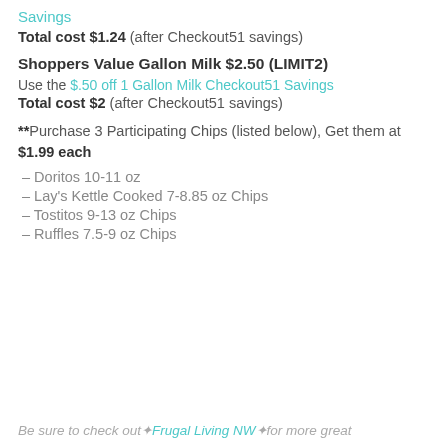Savings
Total cost $1.24 (after Checkout51 savings)
Shoppers Value Gallon Milk $2.50 (LIMIT2)
Use the $.50 off 1 Gallon Milk Checkout51 Savings
Total cost $2 (after Checkout51 savings)
**Purchase 3 Participating Chips (listed below), Get them at $1.99 each
– Doritos 10-11 oz
– Lay's Kettle Cooked 7-8.85 oz Chips
– Tostitos 9-13 oz Chips
– Ruffles 7.5-9 oz Chips
Be sure to check out ❖Frugal Living NW❖ for more great